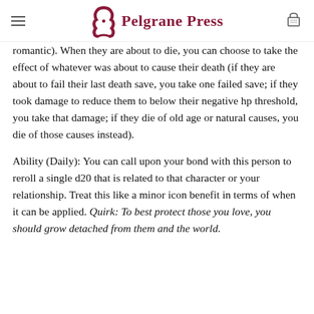Pelgrane Press
romantic). When they are about to die, you can choose to take the effect of whatever was about to cause their death (if they are about to fail their last death save, you take one failed save; if they took damage to reduce them to below their negative hp threshold, you take that damage; if they die of old age or natural causes, you die of those causes instead).
Ability (Daily): You can call upon your bond with this person to reroll a single d20 that is related to that character or your relationship. Treat this like a minor icon benefit in terms of when it can be applied. Quirk: To best protect those you love, you should grow detached from them and the world.